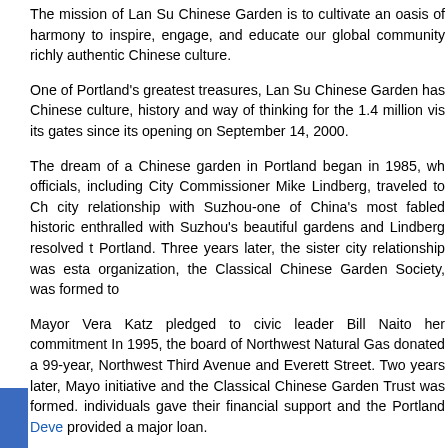The mission of Lan Su Chinese Garden is to cultivate an oasis of harmony to inspire, engage, and educate our global community richly authentic Chinese culture.
One of Portland's greatest treasures, Lan Su Chinese Garden has Chinese culture, history and way of thinking for the 1.4 million vis its gates since its opening on September 14, 2000.
The dream of a Chinese garden in Portland began in 1985, wh officials, including City Commissioner Mike Lindberg, traveled to Ch city relationship with Suzhou-one of China's most fabled historic enthralled with Suzhou's beautiful gardens and Lindberg resolved t Portland. Three years later, the sister city relationship was esta organization, the Classical Chinese Garden Society, was formed to
Mayor Vera Katz pledged to civic leader Bill Naito her commitment In 1995, the board of Northwest Natural Gas donated a 99-year, Northwest Third Avenue and Everett Street. Two years later, Mayo initiative and the Classical Chinese Garden Trust was formed. individuals gave their financial support and the Portland Deve provided a major loan.
In June 1999, picks and shovels clanged on what was the gas co U.S. companies started the site work. Meanwhile, in Suzhou, ar buildings and cast the decorative windows that were shipped to P tons of rock. More than 65 Chinese workers (and two Chinese coo construct the garden's buildings and pathways.
An authentic plant collection was amassed and planted, thanks to